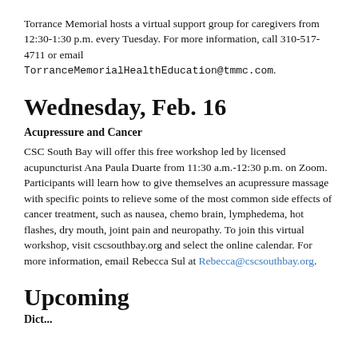Torrance Memorial hosts a virtual support group for caregivers from 12:30-1:30 p.m. every Tuesday. For more information, call 310-517-4711 or email TorranceMemorialHealthEducation@tmmc.com.
Wednesday, Feb. 16
Acupressure and Cancer
CSC South Bay will offer this free workshop led by licensed acupuncturist Ana Paula Duarte from 11:30 a.m.-12:30 p.m. on Zoom. Participants will learn how to give themselves an acupressure massage with specific points to relieve some of the most common side effects of cancer treatment, such as nausea, chemo brain, lymphedema, hot flashes, dry mouth, joint pain and neuropathy. To join this virtual workshop, visit cscsouthbay.org and select the online calendar. For more information, email Rebecca Sul at Rebecca@cscsouthbay.org.
Upcoming
Dict...